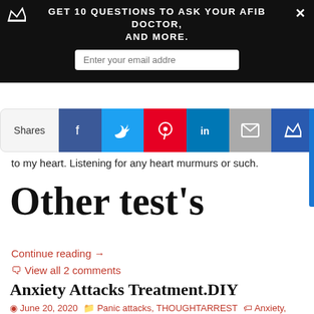Get 10 Questions to ask your AFIB doctor, and more.
[Figure (screenshot): Social share bar with Facebook, Twitter, Pinterest, LinkedIn, Email, and Crown/Feather icons. Shows 'Shares' label on left.]
to my heart. Listening for any heart murmurs or such.
Other test's
Continue reading →
🗨 View all 2 comments
Anxiety Attacks Treatment.DIY
June 20, 2020   Panic attacks, THOUGHTARREST   Anxiety,